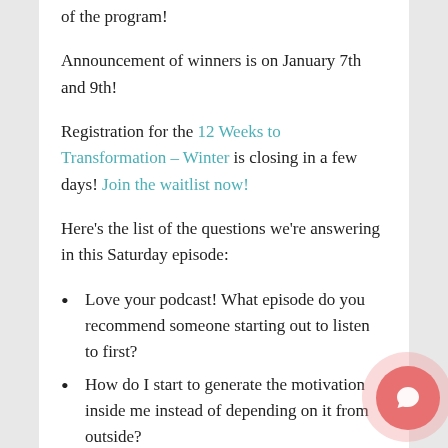of the program!
Announcement of winners is on January 7th and 9th!
Registration for the 12 Weeks to Transformation – Winter is closing in a few days! Join the waitlist now!
Here's the list of the questions we're answering in this Saturday episode:
Love your podcast! What episode do you recommend someone starting out to listen to first?
How do I start to generate the motivation inside me instead of depending on it from outside?